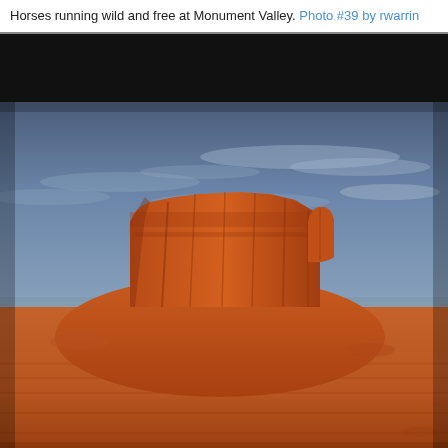Horses running wild and free at Monument Valley. Photo #39 by rwarrin
[Figure (photo): Photograph of a large red sandstone butte (Monument Valley mitten) against a dramatic blue sky with wispy clouds, surrounded by red desert floor.]